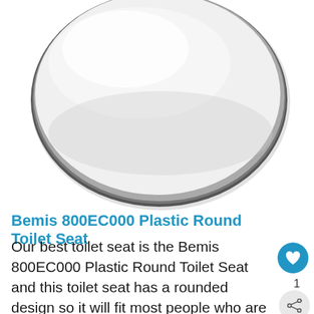[Figure (photo): A white plastic round toilet seat photographed from above against a white background, showing the oval shape with a darker rim/edge.]
Bemis 800EC000 Plastic Round Toilet Seat
Our best toilet seat is the Bemis 800EC000 Plastic Round Toilet Seat and this toilet seat has a rounded design so it will fit most people who are more suited to toilet bowls with a rounded design. Moreover, the toilet seat is relatively very